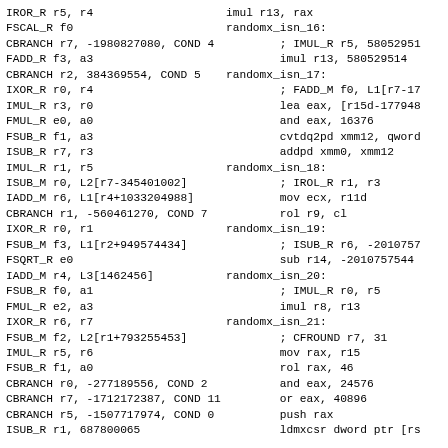Left column assembly/pseudocode listing:
IROR_R r5, r4
FSCAL_R f0
CBRANCH r7, -1980827080, COND 4
FADD_R f3, a3
CBRANCH r2, 384369554, COND 5
IXOR_R r0, r4
IMUL_R r3, r0
FMUL_R e0, a0
FSUB_R f1, a3
ISUB_R r7, r3
IMUL_R r1, r5
ISUB_M r0, L2[r7-345401002]
IADD_M r6, L1[r4+1033204988]
CBRANCH r1, -560461270, COND 7
IXOR_R r0, r1
FSUB_M f3, L1[r2+949574434]
FSQRT_R e0
IADD_M r4, L3[1462456]
FSUB_R f0, a1
FMUL_R e2, a3
IXOR_R r6, r7
FSUB_M f2, L2[r1+793255453]
IMUL_R r5, r6
FSUB_R f1, a0
CBRANCH r0, -277189556, COND 2
CBRANCH r7, -1712172387, COND 11
CBRANCH r5, -1507717974, COND 0
ISUB_R r1, 687800065
FMUL_R e3, a1
FMUL_R e0, a3
ISMULH_M r7, L1[r1+1713542689]
IROL_R r5, r3
Right column x86 assembly listing:
imul r13, rax
randomx_isn_16:
    ; IMUL_R r5, 580529514
    imul r13, 580529514
randomx_isn_17:
    ; FADD_M f0, L1[r7-17...
    lea eax, [r15d-1779489...
    and eax, 16376
    cvtdq2pd xmm12, qword ...
    addpd xmm0, xmm12
randomx_isn_18:
    ; IROL_R r1, r3
    mov ecx, r11d
    rol r9, cl
randomx_isn_19:
    ; ISUB_R r6, -20107575...
    sub r14, -2010757544
randomx_isn_20:
    ; IMUL_R r0, r5
    imul r8, r13
randomx_isn_21:
    ; CFROUND r7, 31
    mov rax, r15
    rol rax, 46
    and eax, 24576
    or eax, 40896
    push rax
    ldmxcsr dword ptr [rs...
    pop rax
randomx_isn_22:
    ; FMUL_R e2, a2
    mulpd xmm6, xmm10